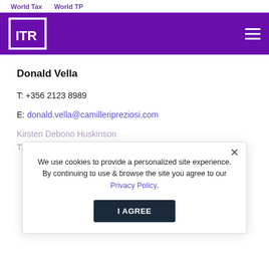World Tax   World TP
[Figure (logo): ITR logo on purple navigation bar with hamburger menu icon]
Donald Vella
T: +356 2123 8989
E: donald.vella@camilleripreziosi.com
We use cookies to provide a personalized site experience. By continuing to use & browse the site you agree to our Privacy Policy.
Kirsten Debono Huskinson
T: +356 2567 8117